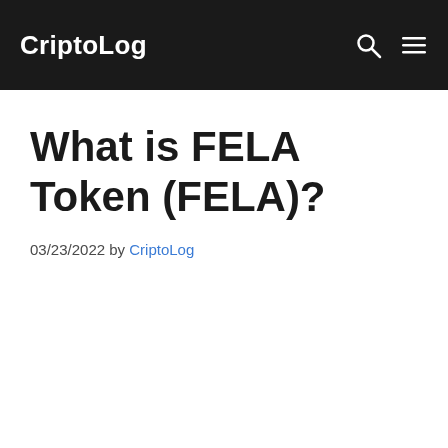CriptoLog
What is FELA Token (FELA)?
03/23/2022 by CriptoLog